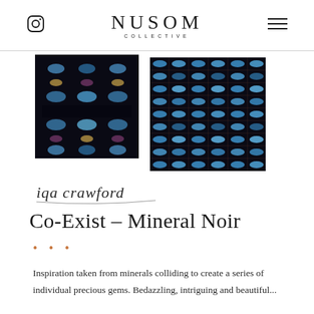NUSOM COLLECTIVE
[Figure (photo): Two decorative textile/fabric pattern images showing blue and black geometric gem-like patterns. First image is more square, second is slightly taller and narrower.]
[Figure (illustration): Handwritten cursive signature reading 'iqa crawford']
Co-Exist – Mineral Noir
• • •
Inspiration taken from minerals colliding to create a series of individual precious gems. Bedazzling, intriguing and beautiful...